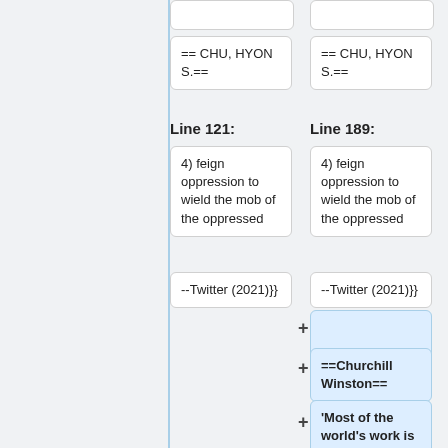== CHU, HYON S.==
== CHU, HYON S.==
Line 121:
Line 189:
4) feign oppression to wield the mob of the oppressed
4) feign oppression to wield the mob of the oppressed
--Twitter (2021)}}
--Twitter (2021)}}
==Churchill Winston==
'Most of the world's work is done by people who are not feeling very well.'